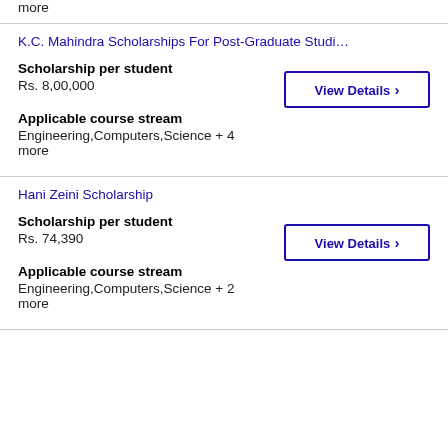more
K.C. Mahindra Scholarships For Post-Graduate Studi…
Scholarship per student
Rs. 8,00,000
Applicable course stream
Engineering,Computers,Science + 4 more
Hani Zeini Scholarship
Scholarship per student
Rs. 74,390
Applicable course stream
Engineering,Computers,Science + 2 more